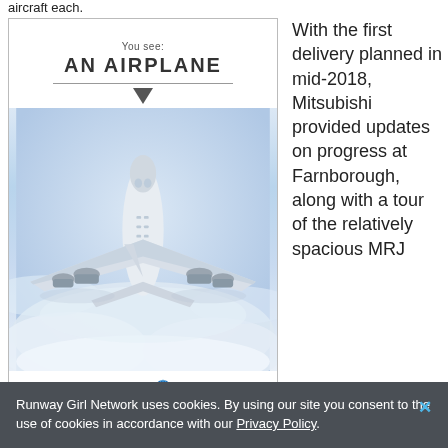aircraft each.
[Figure (photo): Advertisement image showing an airplane flying through clouds with text 'You see: AN AIRPLANE' and Kontron logo at the bottom with tagline 'POSSIBILITIES START HERE']
With the first delivery planned in mid-2018, Mitsubishi provided updates on progress at Farnborough, along with a tour of the relatively spacious MRJ
Runway Girl Network uses cookies. By using our site you consent to the use of cookies in accordance with our Privacy Policy.